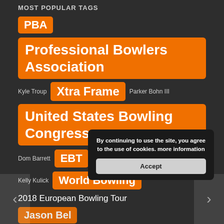MOST POPULAR TAGS
PBA
Professional Bowlers Association
Kyle Troup  Xtra Frame  Parker Bohn III
United States Bowling Congress
Dom Barrett  EBT  Martin Larsen  USBC
Kelly Kulick  World Bowling
2018 European Bowling Tour
Jason Bel[...]
sper Svenss[...]
7 European Bowling Tour
By continuing to use the site, you agree to the use of cookies. more information
Accept